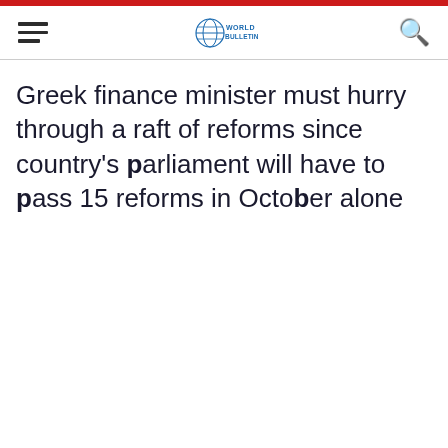World Bulletin
Greek finance minister must hurry through a raft of reforms since country's parliament will have to pass 15 reforms in October alone